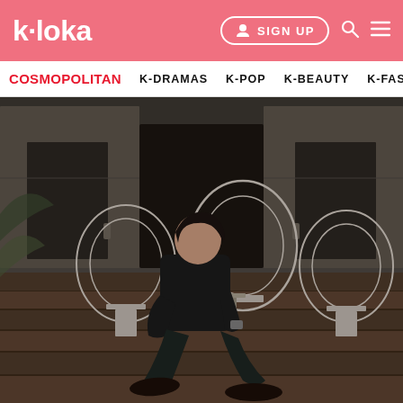k·loka   SIGN UP
COSMOPOLITAN   K-DRAMAS   K-POP   K-BEAUTY   K-FASHION
[Figure (photo): A young man in black outfit sitting on stone steps in front of an old building with white peacock chairs, in black and white / sepia toned photograph]